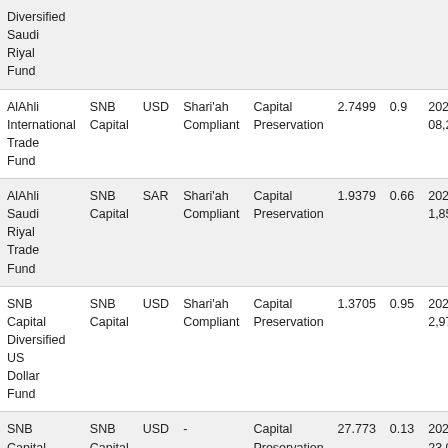| Fund Name | Manager | Currency | Shari'ah Compliance | Objective | NAV | Date | AUM |
| --- | --- | --- | --- | --- | --- | --- | --- |
| Diversified Saudi Riyal Fund |  |  |  |  |  |  |  |
| AlAhli International Trade Fund | SNB Capital | USD | Shari'ah Compliant | Capital Preservation | 2.7499 | 0.9 | 2022/08/60 8,266,232 |
| AlAhli Saudi Riyal Trade Fund | SNB Capital | SAR | Shari'ah Compliant | Capital Preservation | 1.9379 | 0.66 | 2022/08/0 1,859,229, |
| SNB Capital Diversified US Dollar Fund | SNB Capital | USD | Shari'ah Compliant | Capital Preservation | 1.3705 | 0.95 | 2022/08 2,978,912,251 |
| SNB Capital Al | SNB Capital | USD | - | Capital Preservation | 27.773 | 0.13 | 2022/08 23,048,076. |